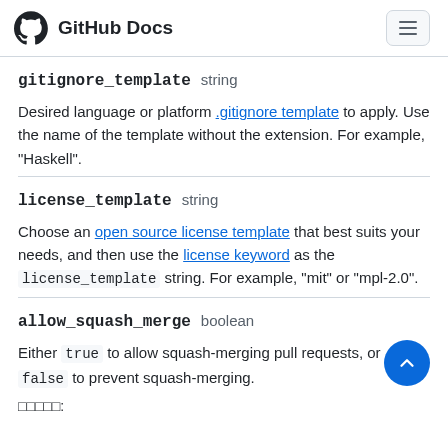GitHub Docs
gitignore_template  string
Desired language or platform .gitignore template to apply. Use the name of the template without the extension. For example, "Haskell".
license_template  string
Choose an open source license template that best suits your needs, and then use the license keyword as the license_template string. For example, "mit" or "mpl-2.0".
allow_squash_merge  boolean
Either true to allow squash-merging pull requests, or false to prevent squash-merging.
: